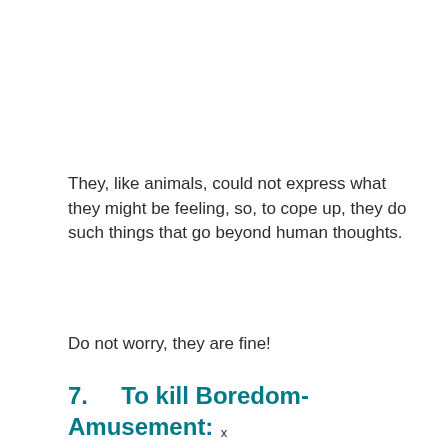They, like animals, could not express what they might be feeling, so, to cope up, they do such things that go beyond human thoughts.
Do not worry, they are fine!
7.    To kill Boredom-Amusement:
To simply put it, cats are fond of sleeping,
x